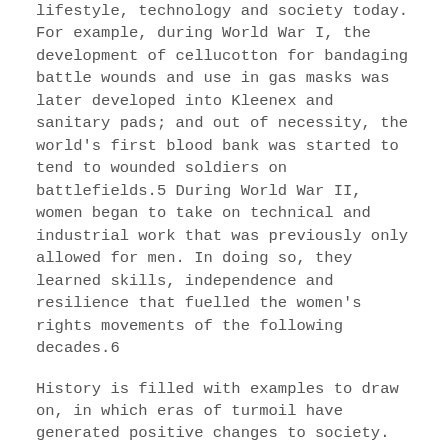lifestyle, technology and society today. For example, during World War I, the development of cellucotton for bandaging battle wounds and use in gas masks was later developed into Kleenex and sanitary pads; and out of necessity, the world's first blood bank was started to tend to wounded soldiers on battlefields.5 During World War II, women began to take on technical and industrial work that was previously only allowed for men. In doing so, they learned skills, independence and resilience that fuelled the women's rights movements of the following decades.6
History is filled with examples to draw on, in which eras of turmoil have generated positive changes to society. Whether these changes are big or small, the current pandemic provides us with an opportunity for reflection, ingenuity and connection that may constructively shift our lives and our culture, if we are willing to take it.
For me, pandemic praxis has meant dusting up on internal medicine differential diagnoses, reviewing treatment algorithms and donning scrubs on a regular basis; all while managing my anxiety around the possibility of redeployment. It has also meant using some of my best distress tolerance skills